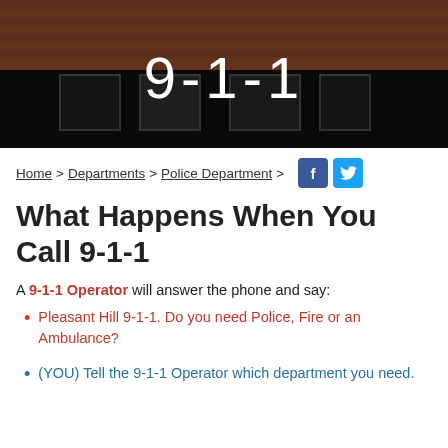[Figure (photo): Brick building exterior with dark windows and overlay, showing '9-1-1' text in white centered on the image]
Home > Departments > Police Department >
What Happens When You Call 9-1-1
A 9-1-1 Operator will answer the phone and say:
Pleasant Hill 9-1-1. Do you need Police, Fire or an Ambulance?
(YOU) Tell the 9-1-1 Operator which department you need.